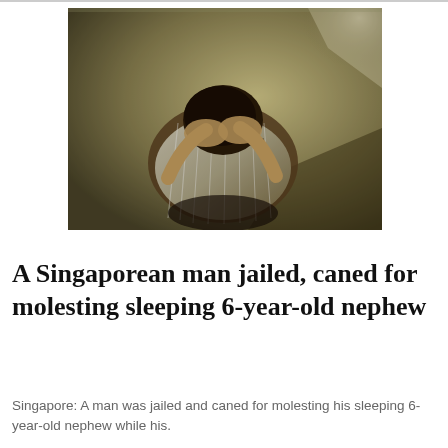[Figure (photo): A person sitting with their head bowed down into their hands, wearing a striped shirt and a watch, appearing distressed. The background is a dim, olive/yellow-toned wall.]
A Singaporean man jailed, caned for molesting sleeping 6-year-old nephew
Singapore: A man was jailed and caned for molesting his sleeping 6-year-old nephew while his.